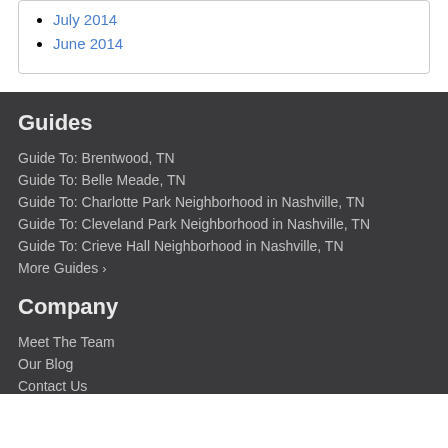July 2014
June 2014
Guides
Guide To: Brentwood, TN
Guide To: Belle Meade, TN
Guide To: Charlotte Park Neighborhood in Nashville, TN
Guide To: Cleveland Park Neighborhood in Nashville, TN
Guide To: Crieve Hall Neighborhood in Nashville, TN
More Guides ›
Company
Meet The Team
Our Blog
Contact Us